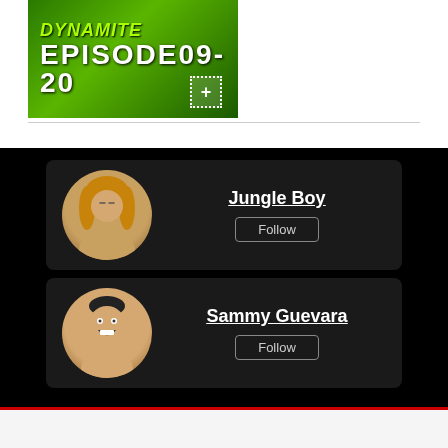[Figure (screenshot): AEW Dynamite Episode 09-20 thumbnail image with green background and plus button]
Jungle Boy
Follow
Sammy Guevara
Follow